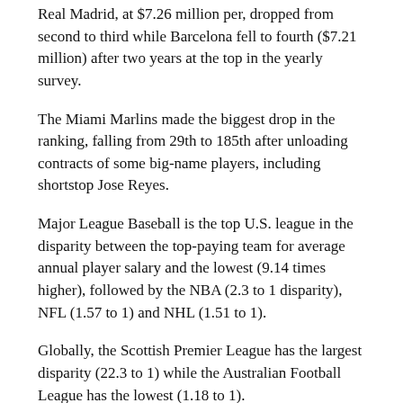Real Madrid, at $7.26 million per, dropped from second to third while Barcelona fell to fourth ($7.21 million) after two years at the top in the yearly survey.
The Miami Marlins made the biggest drop in the ranking, falling from 29th to 185th after unloading contracts of some big-name players, including shortstop Jose Reyes.
Major League Baseball is the top U.S. league in the disparity between the top-paying team for average annual player salary and the lowest (9.14 times higher), followed by the NBA (2.3 to 1 disparity), NFL (1.57 to 1) and NHL (1.51 to 1).
Globally, the Scottish Premier League has the largest disparity (22.3 to 1) while the Australian Football League has the lowest (1.18 to 1).
With salary caps keeping the NHL and NFL ratios low, Harris said UEFA's financial fair play rules might continue to keep the European football leagues high.